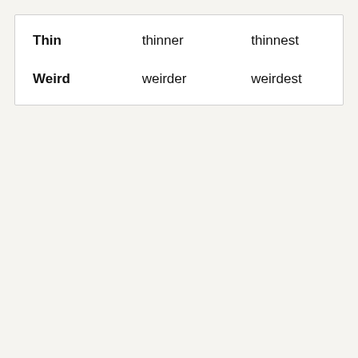| Thin | thinner | thinnest |
| Weird | weirder | weirdest |